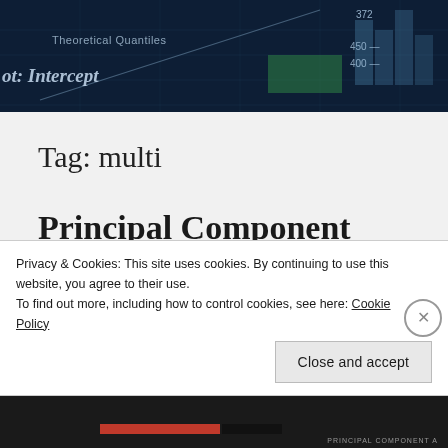[Figure (screenshot): Dark blue header image showing a statistical chart background with text 'Theoretical Quantiles', 'ot: Intercept', and numeric axis labels 372, 450, 400]
Tag: multi
Principal Component Analysis in 6 steps
Privacy & Cookies: This site uses cookies. By continuing to use this website, you agree to their use.
To find out more, including how to control cookies, see here: Cookie Policy
Close and accept